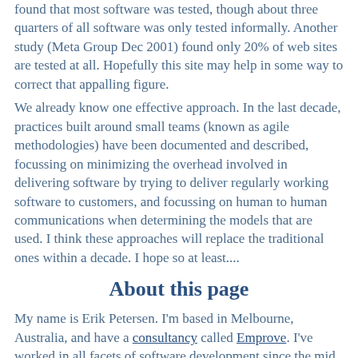found that most software was tested, though about three quarters of all software was only tested informally. Another study (Meta Group Dec 2001) found only 20% of web sites are tested at all. Hopefully this site may help in some way to correct that appalling figure.
We already know one effective approach. In the last decade, practices built around small teams (known as agile methodologies) have been documented and described, focussing on minimizing the overhead involved in delivering software by trying to deliver regularly working software to customers, and focussing on human to human communications when determining the models that are used. I think these approaches will replace the traditional ones within a decade. I hope so at least....
About this page
My name is Erik Petersen. I'm based in Melbourne, Australia, and have a consultancy called Emprove. I've worked in all facets of software development since the mid 80s, concentrating on quality since the middle 90s. This occasionally biographical site contains some of the things I have found since I came online in 1996. During a short career break in 2002, I created this software testing site, different from other testing sites on the web. I wanted it to be like a book of information that I could use and share with other people. I based it on a folder I had in the early 90s when I worked